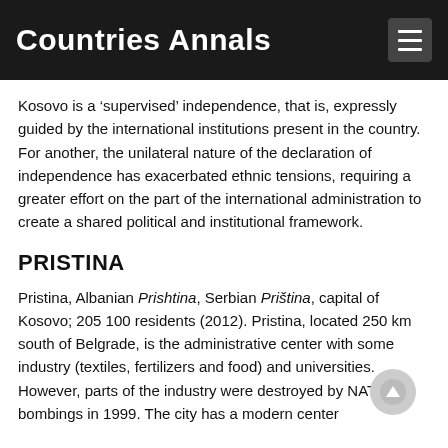Countries Annals
Kosovo is a ‘supervised’ independence, that is, expressly guided by the international institutions present in the country. For another, the unilateral nature of the declaration of independence has exacerbated ethnic tensions, requiring a greater effort on the part of the international administration to create a shared political and institutional framework.
PRISTINA
Pristina, Albanian Prishtina, Serbian Priština, capital of Kosovo; 205 100 residents (2012). Pristina, located 250 km south of Belgrade, is the administrative center with some industry (textiles, fertilizers and food) and universities. However, parts of the industry were destroyed by NATO bombings in 1999. The city has a modern center